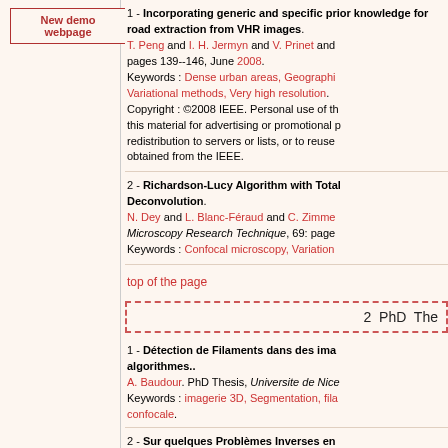New demo webpage
1 - Incorporating generic and specific prior knowledge for road extraction from VHR images. T. Peng and I. H. Jermyn and V. Prinet and ... pages 139--146, June 2008. Keywords : Dense urban areas, Geographic ..., Variational methods, Very high resolution. Copyright : ©2008 IEEE. Personal use of this material for advertising or promotional ... redistribution to servers or lists, or to reuse ... obtained from the IEEE.
2 - Richardson-Lucy Algorithm with Total ... Deconvolution. N. Dey and L. Blanc-Féraud and C. Zimme... Microscopy Research Technique, 69: page... Keywords : Confocal microscopy, Variation...
top of the page
[Figure (other): Dashed border box with text '2 PhD The']
1 - Détection de Filaments dans des ima... algorithmes.. A. Baudour. PhD Thesis, Universite de Nice... Keywords : imagerie 3D, Segmentation, fila... confocale.
2 - Sur quelques Problèmes Inverses en... L. Blanc-Féraud. Habilitation à diriger des R... Keywords : Partial differential equation, Re... methods.